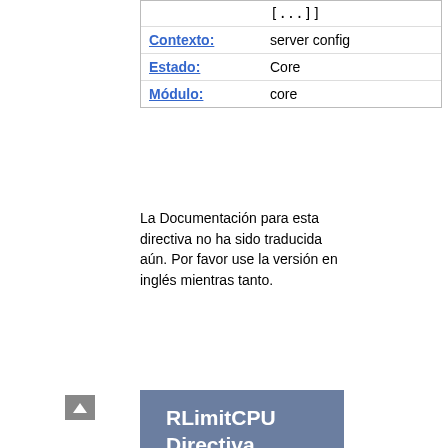| [...]] |  |
| Contexto: | server config |
| Estado: | Core |
| Módulo: | core |
La Documentación para esta directiva no ha sido traducida aún. Por favor use la versión en inglés mientras tanto.
RLimitCPU Directiva
| Descripción: | Limits the CPU consumption of processes launched by Apache httpd children |
| Sintaxis: | RLimitCPU seconds|max [seconds|max] |
| Valor por defecto: |  |